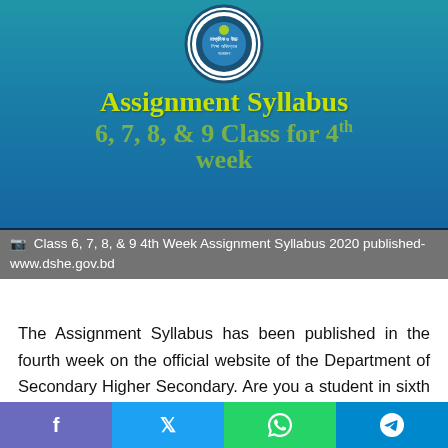[Figure (illustration): Blue gradient banner with circular logo (Department of Secondary and Higher Secondary Education Bangladesh seal) at top center, with large yellow-green text 'Assignment Syllabus' and partially visible subtitle '6, 7, 8, & 9 Class for 4th week']
Class 6, 7, 8, & 9 4th Week Assignment Syllabus 2020 published- www.dshe.gov.bd
The Assignment Syllabus has been published in the fourth week on the official website of the Department of Secondary Higher Secondary. Are you a student in sixth grade, seventh grade, eighth grade, and ninth grade? Then the assignment syllabus is very necessary for you. You can also download the syllabus from the official website and you can also download the syllabus from the PDF file from our website. To download the syllabus you need to visit our website and click on www.dshe ac.gov.bd then when the file is downloaded you
[Figure (other): Social share button bar: Facebook (purple-blue), Twitter (blue), WhatsApp (green), Telegram (blue)]